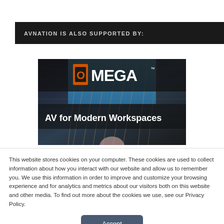AVNATION IS ALSO SUPPORTED BY:
[Figure (illustration): Omega AV advertisement banner showing logo and text 'AV for Modern Workspaces' over a modern glass building background]
This website stores cookies on your computer. These cookies are used to collect information about how you interact with our website and allow us to remember you. We use this information in order to improve and customize your browsing experience and for analytics and metrics about our visitors both on this website and other media. To find out more about the cookies we use, see our Privacy Policy.
Accept